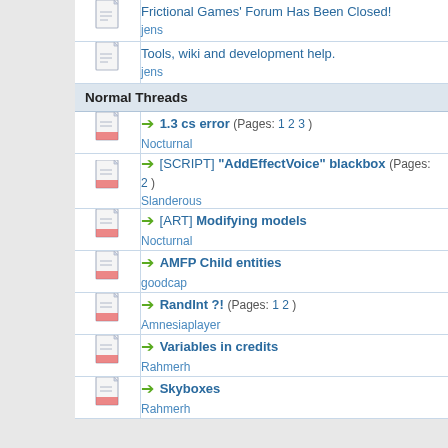Frictional Games' Forum Has Been Closed!
jens
Tools, wiki and development help.
jens
Normal Threads
1.3 cs error (Pages: 1 2 3)
Nocturnal
[SCRIPT] "AddEffectVoice" blackbox (Pages: 2)
Slanderous
[ART] Modifying models
Nocturnal
AMFP Child entities
goodcap
RandInt ?! (Pages: 1 2)
Amnesiaplayer
Variables in credits
Rahmerh
Skyboxes
Rahmerh